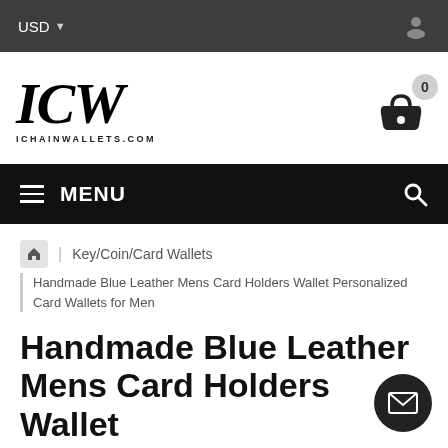USD
[Figure (logo): ICW gothic/blackletter logo with text ICHAINWALLETS.COM below]
MENU
Key/Coin/Card Wallets
Handmade Blue Leather Mens Card Holders Wallet Personalized Card Wallets for Men
Handmade Blue Leather Mens Card Holders Wallet